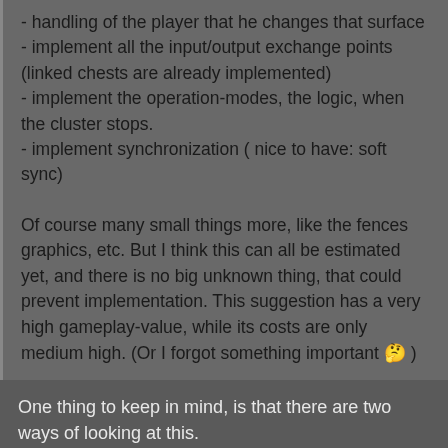- handling of the player that he changes that surface
- implement all the input/output exchange points (linked chests are already implemented)
- implement the operation-modes, the logic, when the cluster stops.
- implement synchronization ( nice to have: soft sync)

Of course many small things more, like the fences graphics, etc. But I think this can all be estimated yet, and there is no big unknown thing, that could prevent implementation. This suggestion has a very high gameplay-value, while its costs are only medium high. (Or I forgot something important 🤔 )
One thing to keep in mind, is that there are two ways of looking at this.
If wube enables it, versus doing it with a mod.
If wube enables it, than I would probably reduce the suggestion to a few sentences. Prescribing how it should be done it really isn't necessary or efficient. There are an infinite